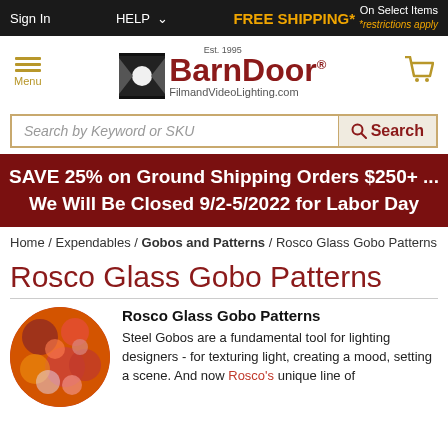Sign In  HELP  FREE SHIPPING*  On Select Items *restrictions apply
[Figure (logo): BarnDoor FilmandVideoLighting.com logo with Est. 1995 badge and barn door icon]
Search by Keyword or SKU  Search
SAVE 25% on Ground Shipping Orders $250+ ... We Will Be Closed 9/2-5/2022 for Labor Day
Home / Expendables / Gobos and Patterns / Rosco Glass Gobo Patterns
Rosco Glass Gobo Patterns
[Figure (photo): Circular photo of colorful glass gobo pattern with reds and pinks]
Rosco Glass Gobo Patterns
Steel Gobos are a fundamental tool for lighting designers - for texturing light, creating a mood, setting a scene. And now Rosco's unique line of